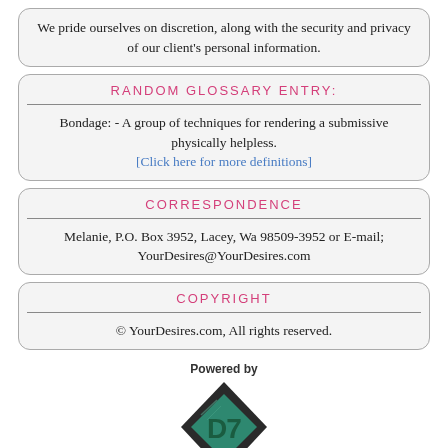We pride ourselves on discretion, along with the security and privacy of our client's personal information.
RANDOM GLOSSARY ENTRY:
Bondage: - A group of techniques for rendering a submissive physically helpless.
[Click here for more definitions]
CORRESPONDENCE
Melanie, P.O. Box 3952, Lacey, Wa 98509-3952 or E-mail; YourDesires@YourDesires.com
COPYRIGHT
© YourDesires.com, All rights reserved.
[Figure (logo): Powered by D7 logo — diamond shape with teal/green D7 text on dark background]